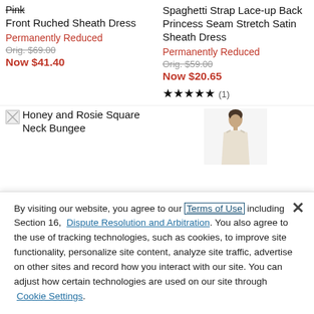Pink Front Ruched Sheath Dress
Permanently Reduced
Orig. $69.00
Now $41.40
Spaghetti Strap Lace-up Back Princess Seam Stretch Satin Sheath Dress
Permanently Reduced
Orig. $59.00
Now $20.65
★★★★★ (1)
[Figure (photo): Broken image placeholder for Honey and Rosie Square Neck Bungee product]
Honey and Rosie Square Neck Bungee
[Figure (photo): Photo of a woman in a white dress, partially visible]
By visiting our website, you agree to our Terms of Use including Section 16, Dispute Resolution and Arbitration. You also agree to the use of tracking technologies, such as cookies, to improve site functionality, personalize site content, analyze site traffic, advertise on other sites and record how you interact with our site. You can adjust how certain technologies are used on our site through Cookie Settings.